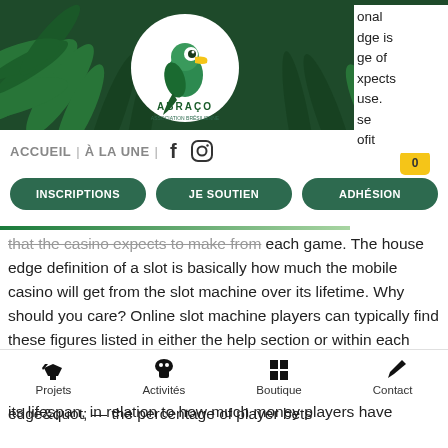[Figure (logo): Abraço association logo — circular white badge with a toucan/parrot bird and tropical leaves background, green color scheme, text ABRAÇO below the bird icon]
onal
dge is
ge of
pects
use.
se
ofit
ACCUEIL | À LA UNE | [Facebook icon] [Instagram icon] [Cart icon 0]
INSCRIPTIONS   JE SOUTIEN   ADHÉSION
that the casino expects to make from each game. The house edge definition of a slot is basically how much the mobile casino will get from the slot machine over its lifetime. Why should you care? Online slot machine players can typically find these figures listed in either the help section or within each game's instructions. If you are playing table. In slots it represents how much an individual machine has paid out over its lifespan, in relation to how much money players have
Projets   Activités   Boutique   Contact
edge&quot; — the percentage of player bets